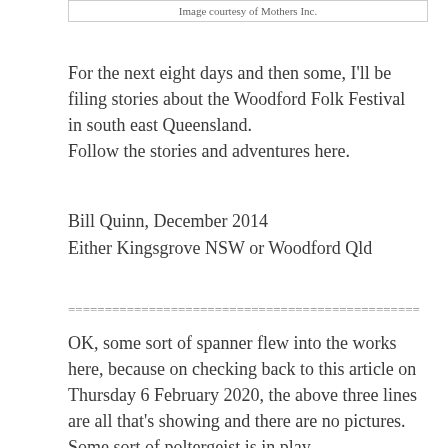Image courtesy of Mothers Inc.
For the next eight days and then some, I'll be filing stories about the Woodford Folk Festival in south east Queensland.
Follow the stories and adventures here.
Bill Quinn, December 2014
Either Kingsgrove NSW or Woodford Qld
================================================
OK, some sort of spanner flew into the works here, because on checking back to this article on Thursday 6 February 2020, the above three lines are all that's showing and there are no pictures. Some sort of poltergeist is in play.